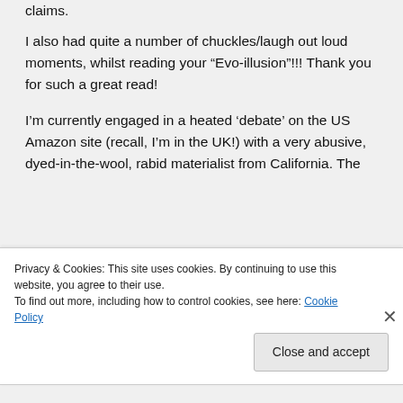claims.
I also had quite a number of chuckles/laugh out loud moments, whilst reading your “Evo-illusion”!!! Thank you for such a great read!
I’m currently engaged in a heated ‘debate’ on the US Amazon site (recall, I’m in the UK!) with a very abusive, dyed-in-the-wool, rabid materialist from California. The
Privacy & Cookies: This site uses cookies. By continuing to use this website, you agree to their use.
To find out more, including how to control cookies, see here: Cookie Policy
Close and accept